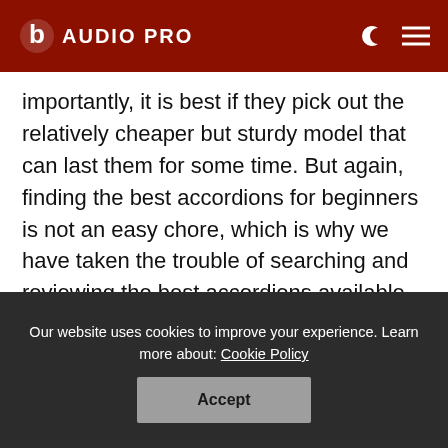AUDIO PRO
importantly, it is best if they pick out the relatively cheaper but sturdy model that can last them for some time. But again, finding the best accordions for beginners is not an easy chore, which is why we have taken the trouble of searching and reviewing the best accordions available for beginners right now.
[partial text cut off]
Our website uses cookies to improve your experience. Learn more about: Cookie Policy
Accept